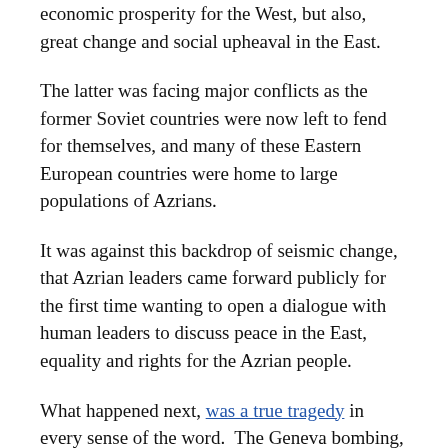economic prosperity for the West, but also, great change and social upheaval in the East.
The latter was facing major conflicts as the former Soviet countries were now left to fend for themselves, and many of these Eastern European countries were home to large populations of Azrians.
It was against this backdrop of seismic change, that Azrian leaders came forward publicly for the first time wanting to open a dialogue with human leaders to discuss peace in the East, equality and rights for the Azrian people.
What happened next, was a true tragedy in every sense of the word.  The Geneva bombing, which left hundreds of people dead, and thousands more injured only served to inflame anti-Azrian passions.  The Human Right government was the result.